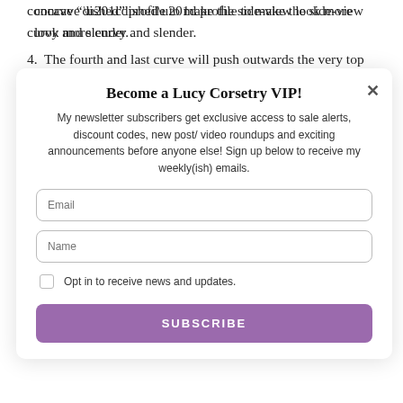concave “dished” profile to make the side-view look more curvy and slender.
4. The fourth and last curve will push outwards the very top edge of the busk –
Become a Lucy Corsetry VIP!
My newsletter subscribers get exclusive access to sale alerts, discount codes, new post/ video roundups and exciting announcements before anyone else! Sign up below to receive my weekly(ish) emails.
Email
Name
Opt in to receive news and updates.
SUBSCRIBE